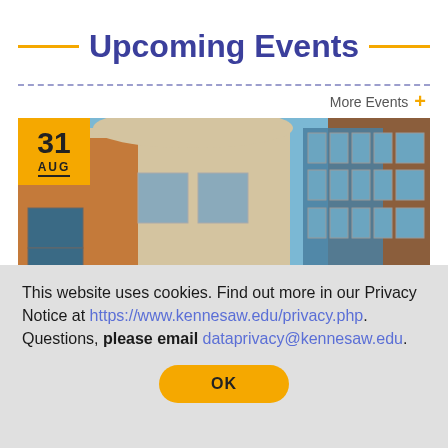Upcoming Events
More Events +
[Figure (photo): A university building exterior with brick and glass facade, date badge showing 31 AUG in the top left corner]
This website uses cookies. Find out more in our Privacy Notice at https://www.kennesaw.edu/privacy.php. Questions, please email dataprivacy@kennesaw.edu.